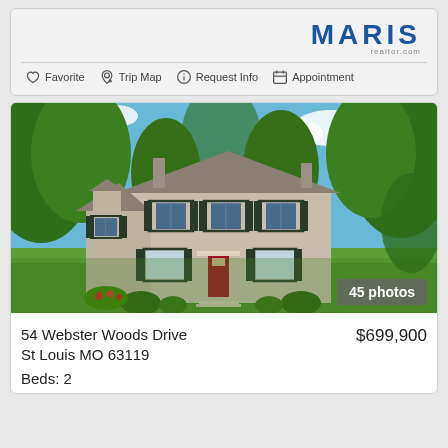[Figure (logo): MARIS logo in bold blue letters with subtitle text below]
Favorite   Trip Map   Request Info   Appointment
[Figure (photo): Two-story colonial style house with gray/beige exterior, black shutters, red front door, surrounded by large trees and green lawn. 45 photos badge in lower right corner.]
45 photos
54 Webster Woods Drive
St Louis MO 63119
$699,900
Beds: 2